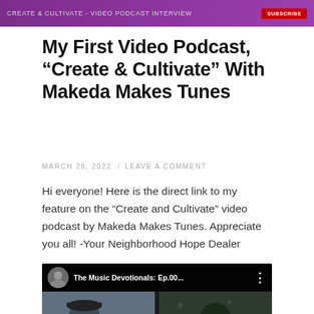CREATE & CULTIVATE - VIDEO PODCAST INTERVIEW
My First Video Podcast, “Create & Cultivate” With Makeda Makes Tunes
MARCH 28, 2022 / LEAVE A COMMENT
Hi everyone! Here is the direct link to my feature on the “Create and Cultivate” video podcast by Makeda Makes Tunes. Appreciate you all! -Your Neighborhood Hope Dealer
[Figure (screenshot): YouTube video embed showing 'The Music Devotionals: Ep.00...' with two people visible in the thumbnail and a YouTube play button overlay]